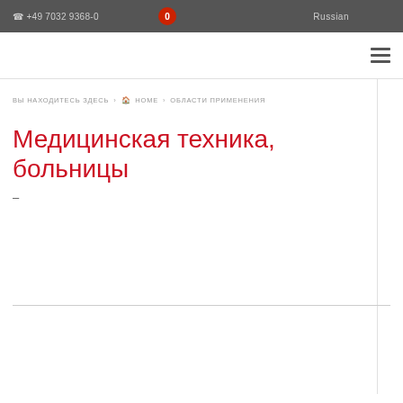+49 7032 9368-0   0   Russian
ВЫ НАХОДИТЕСЬ ЗДЕСЬ > HOME > ОБЛАСТИ ПРИМЕНЕНИЯ
Медицинская техника, больницы
–